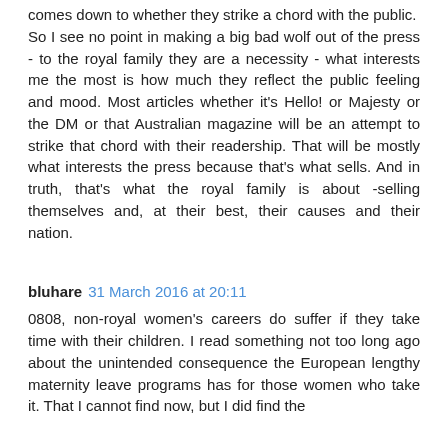comes down to whether they strike a chord with the public.
So I see no point in making a big bad wolf out of the press - to the royal family they are a necessity - what interests me the most is how much they reflect the public feeling and mood. Most articles whether it's Hello! or Majesty or the DM or that Australian magazine will be an attempt to strike that chord with their readership. That will be mostly what interests the press because that's what sells. And in truth, that's what the royal family is about -selling themselves and, at their best, their causes and their nation.
bluhare  31 March 2016 at 20:11
0808, non-royal women's careers do suffer if they take time with their children. I read something not too long ago about the unintended consequence the European lengthy maternity leave programs has for those women who take it. That I cannot find now, but I did find the